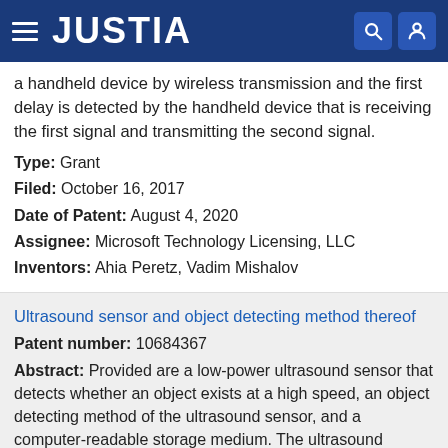JUSTIA
a handheld device by wireless transmission and the first delay is detected by the handheld device that is receiving the first signal and transmitting the second signal.
Type: Grant
Filed: October 16, 2017
Date of Patent: August 4, 2020
Assignee: Microsoft Technology Licensing, LLC
Inventors: Ahia Peretz, Vadim Mishalov
Ultrasound sensor and object detecting method thereof
Patent number: 10684367
Abstract: Provided are a low-power ultrasound sensor that detects whether an object exists at a high speed, an object detecting method of the ultrasound sensor, and a computer-readable storage medium. The ultrasound